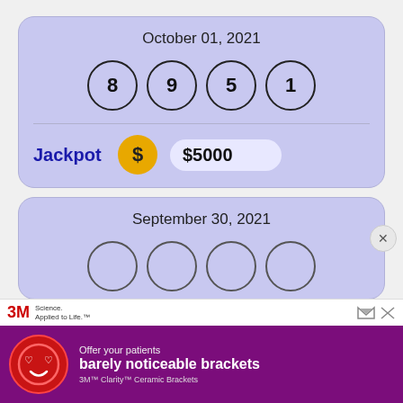October 01, 2021
[Figure (infographic): Four lottery balls showing numbers 8, 9, 5, 1 in circles on lavender background]
Jackpot  $5000
September 30, 2021
[Figure (infographic): Partial view of four lottery ball circles on lavender background]
[Figure (infographic): 3M advertisement - Offer your patients barely noticeable brackets - 3M Clarity Ceramic Brackets]